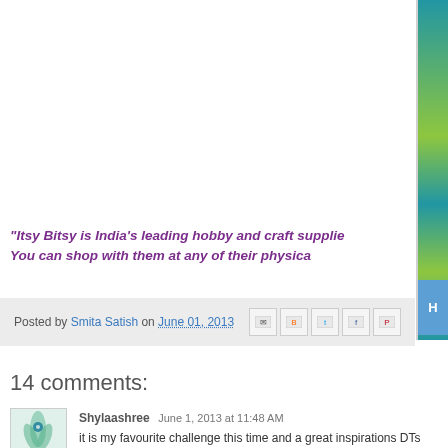[Figure (illustration): Vertical decorative strip image on right side with teal/green colors and letter H visible]
"Itsy Bitsy is India's leading hobby and craft supplie... You can shop with them at any of their physica...
Posted by Smita Satish on June 01, 2013
14 comments:
Shylaashree   June 1, 2013 at 11:48 AM
it is my favourite challenge this time and a great inspirations DTs...